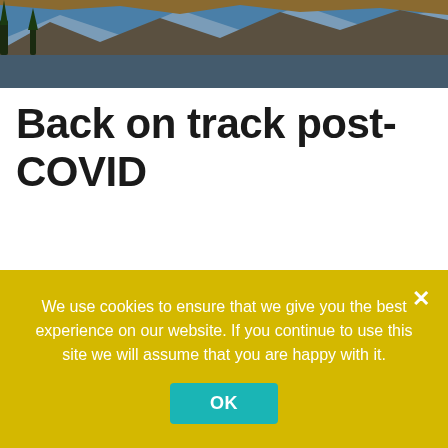[Figure (photo): Landscape photo showing a mountain lake reflection with rocky peaks and trees at top of page]
Back on track post-COVID
By the season opener, Bridgeport was fully open for summer reservations. Although sometimes difficult due to staff shortages or other pandemic-caused situations, campsite reservations were back to normal. People seemed to be getting the sites they
We use cookies to ensure that we give you the best experience on our website. If you continue to use this site we will assume that you are happy with it.